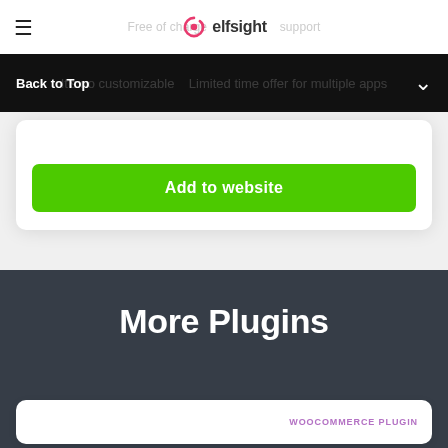Free of charge · Support
Back to Top
It's no customizable · Limited time offer for multiple apps
Add to website
More Plugins
WOOCOMMERCE PLUGIN